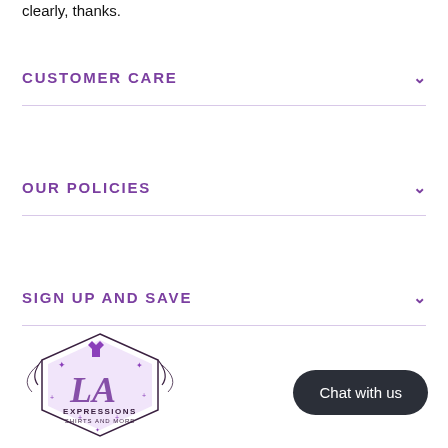clearly, thanks.
CUSTOMER CARE
OUR POLICIES
SIGN UP AND SAVE
[Figure (logo): LA Expressions Shirts and More logo — hexagonal shape with script LA letters, small t-shirt icon, sparkle stars, and decorative swashes in purple and black]
Chat with us